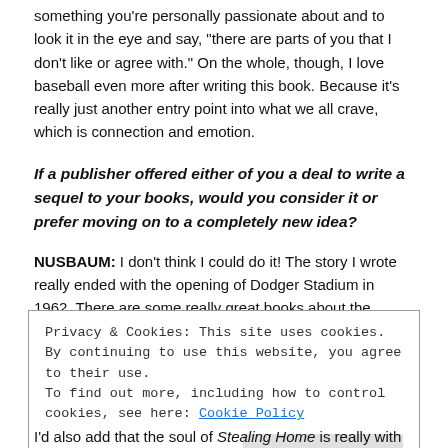something you're personally passionate about and to look it in the eye and say, "there are parts of you that I don't like or agree with." On the whole, though, I love baseball even more after writing this book. Because it's really just another entry point into what we all crave, which is connection and emotion.
If a publisher offered either of you a deal to write a sequel to your books, would you consider it or prefer moving on to a completely new idea?
NUSBAUM: I don't think I could do it! The story I wrote really ended with the opening of Dodger Stadium in 1962. There are some really great books about the Dodgers and L.A. in the years following Stealing
Privacy & Cookies: This site uses cookies. By continuing to use this website, you agree to their use.
To find out more, including how to control cookies, see here: Cookie Policy
I'd also add that the soul of Stealing Home is really with the